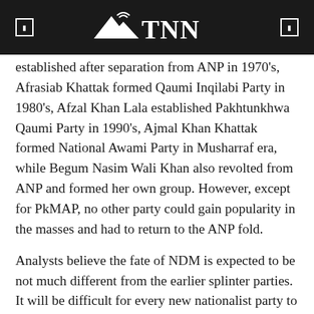TNN
established after separation from ANP in 1970's, Afrasiab Khattak formed Qaumi Inqilabi Party in 1980's, Afzal Khan Lala established Pakhtunkhwa Qaumi Party in 1990's, Ajmal Khan Khattak formed National Awami Party in Musharraf era, while Begum Nasim Wali Khan also revolted from ANP and formed her own group. However, except for PkMAP, no other party could gain popularity in the masses and had to return to the ANP fold.
Analysts believe the fate of NDM is expected to be not much different from the earlier splinter parties. It will be difficult for every new nationalist party to break the Pakhtun voters of the ANP, the oldest nationalist party. The other fact is that most